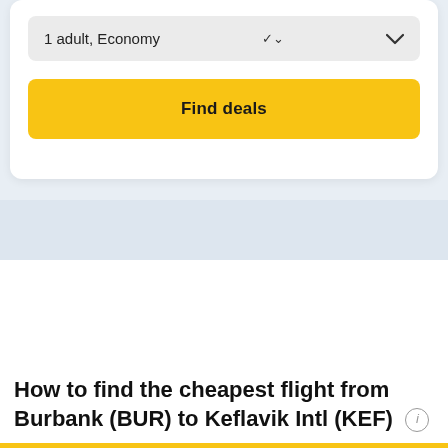1 adult, Economy
Find deals
How to find the cheapest flight from Burbank (BUR) to Keflavik Intl (KEF)